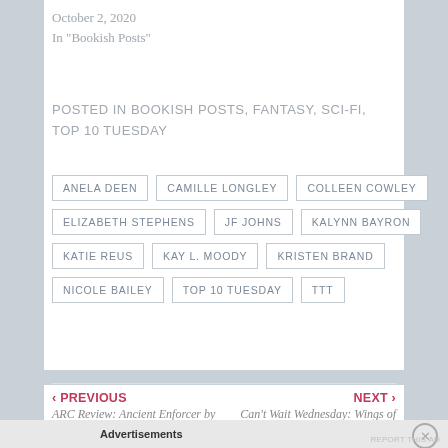October 2, 2020
In "Bookish Posts"
POSTED IN BOOKISH POSTS, FANTASY, SCI-FI, TOP 10 TUESDAY
ANELA DEEN
CAMILLE LONGLEY
COLLEEN COWLEY
ELIZABETH STEPHENS
JF JOHNS
KALYNN BAYRON
KATIE REUS
KAY L. MOODY
KRISTEN BRAND
NICOLE BAILEY
TOP 10 TUESDAY
TTT
‹ PREVIOUS
ARC Review: Ancient Enforcer by
NEXT ›
Can't Wait Wednesday: Wings of
Advertisements
REPORT THIS AD